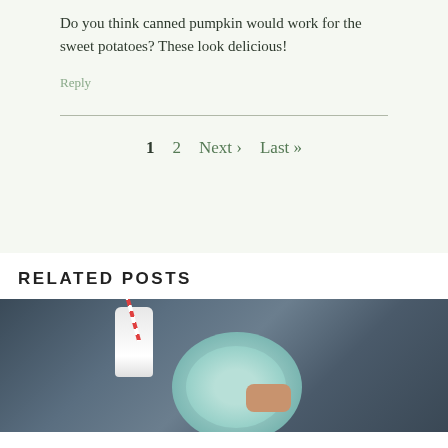Do you think canned pumpkin would work for the sweet potatoes? These look delicious!
Reply
1  2  Next ›  Last »
RELATED POSTS
[Figure (photo): Food photo showing a teal decorative plate with cookies and a glass milk bottle with a red and white striped straw, on a dark wooden surface]